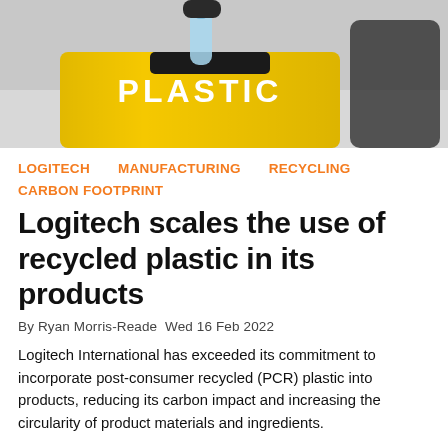[Figure (photo): Photo of a person dropping a plastic bottle into a yellow recycling bin labeled PLASTIC]
LOGITECH   MANUFACTURING   RECYCLING   CARBON FOOTPRINT
Logitech scales the use of recycled plastic in its products
By Ryan Morris-Reade  Wed 16 Feb 2022
Logitech International has exceeded its commitment to incorporate post-consumer recycled (PCR) plastic into products, reducing its carbon impact and increasing the circularity of product materials and ingredients.